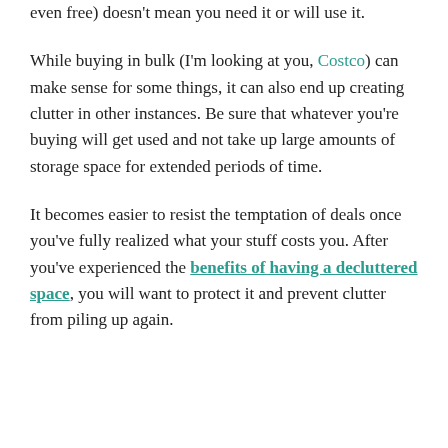even free) doesn't mean you need it or will use it.
While buying in bulk (I'm looking at you, Costco) can make sense for some things, it can also end up creating clutter in other instances. Be sure that whatever you're buying will get used and not take up large amounts of storage space for extended periods of time.
It becomes easier to resist the temptation of deals once you've fully realized what your stuff costs you. After you've experienced the benefits of having a decluttered space, you will want to protect it and prevent clutter from piling up again.